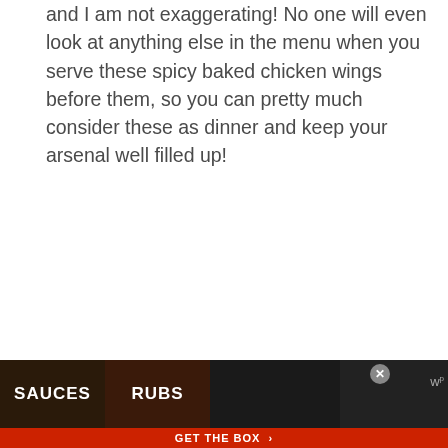and I am not exaggerating! No one will even look at anything else in the menu when you serve these spicy baked chicken wings before them, so you can pretty much consider these as dinner and keep your arsenal well filled up!
Trust me, no matter how large a batch of these spicy baked chicken wings you make, you will still fall short and there will still be few disappointed grunts in the gang! This is that good!
Recipe adapted from The Endless Meal and modified as suited to our taste buds.
[Figure (other): Advertisement banner with sections for SAUCES, RUBS, a burger image, and condiment bottles. Red bottom bar reads GET THE BOX with arrow.]